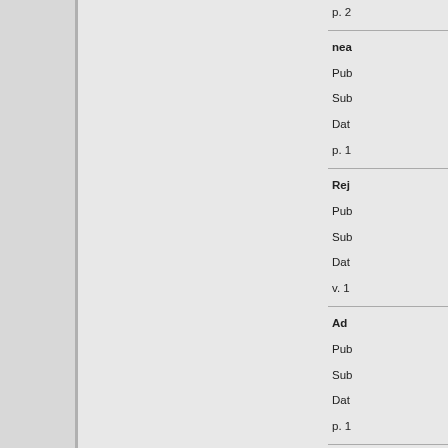p. 2
nea
Pub
Sub
Dat
p. 1
Rej
Pub
Sub
Dat
v. 1
Ad
Pub
Sub
Dat
p. 1
Tal
Pub
Sub